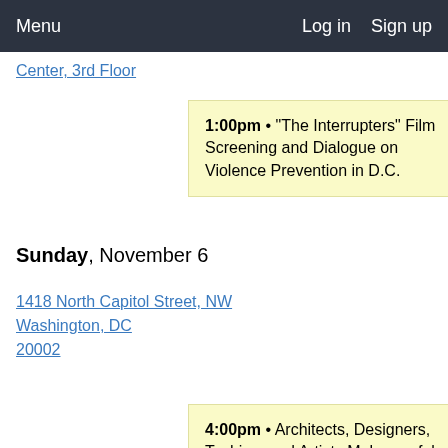Menu    Log in  Sign up
Center, 3rd Floor
1:00pm • "The Interrupters" Film Screening and Dialogue on Violence Prevention in D.C.
Sunday, November 6
1418 North Capitol Street, NW Washington, DC 20002
4:00pm • Architects, Designers, Techies, and Artists Make ~ a fab exhibition